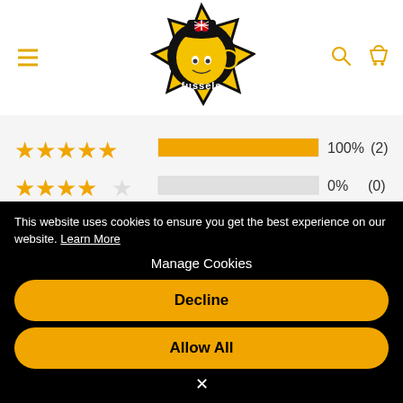[Figure (logo): Fussels brand logo - yellow star/badge shape with a boy character and Union Jack heart, text 'fussels']
[Figure (infographic): Star rating breakdown: 5-star 100% (2), 4-star 0% (0), 3-star 0% (0), 2-star 0% (0)]
This website uses cookies to ensure you get the best experience on our website. Learn More
Manage Cookies
Decline
Allow All